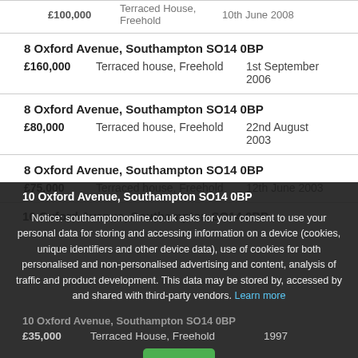8 Oxford Avenue, Southampton SO14 0BP — £160,000 — Terraced house, Freehold — 1st September 2006
8 Oxford Avenue, Southampton SO14 0BP — £80,000 — Terraced house, Freehold — 22nd August 2003
8 Oxford Avenue, Southampton SO14 0BP — £75,000 — Terraced house, Freehold — 12th June 2003
10 Oxford Avenue, Southampton SO14 0BP
Notice: southamptononline.co.uk asks for your consent to use your personal data for storing and accessing information on a device (cookies, unique identifiers and other device data), use of cookies for both personalised and non-personalised advertising and content, analysis of traffic and product development. This data may be stored by, accessed by and shared with third-party vendors. Learn more
10 Oxford Avenue, Southampton SO14 0BP — £35,000 — Terraced House, Freehold — 1997
First Floor Flat, 11a Oxford Avenue, Southampton SO14 0BN